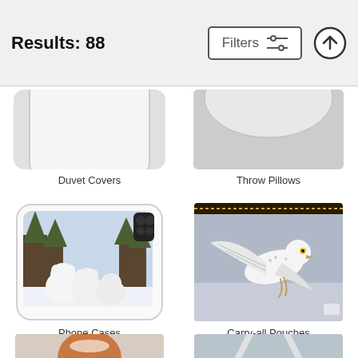Results: 88
Filters
Duvet Covers
Throw Pillows
[Figure (photo): Phone case with polar bear cubs in snowy forest scene]
Phone Cases
[Figure (photo): Carry-all pouch with snowy owl in flight over snowy surface]
Carry-all Pouches
[Figure (photo): Partially visible product with red fox in snow]
[Figure (photo): Partially visible tote bag with winter scene]